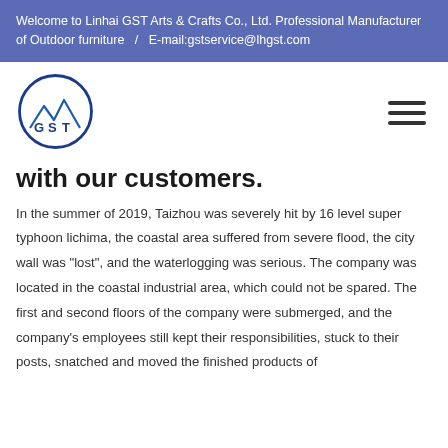Welcome to Linhai GST Arts & Crafts Co., Ltd. Professional Manufacturer of Outdoor furniture   /   E-mail:gstservice@lhgst.com
[Figure (logo): GST Arts & Crafts circular logo with mountain and G S T letters in dark blue]
with our customers.
In the summer of 2019, Taizhou was severely hit by 16 level super typhoon lichima, the coastal area suffered from severe flood, the city wall was "lost", and the waterlogging was serious. The company was located in the coastal industrial area, which could not be spared. The first and second floors of the company were submerged, and the company's employees still kept their responsibilities, stuck to their posts, snatched and moved the finished products of